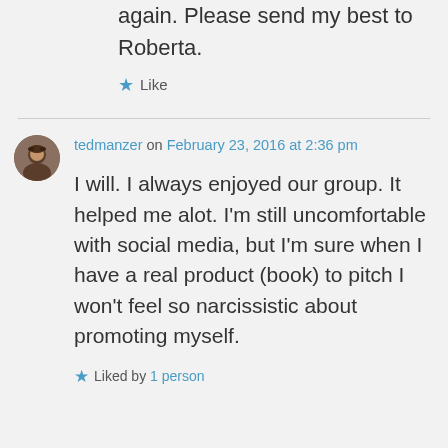again. Please send my best to Roberta.
Like
tedmanzer on February 23, 2016 at 2:36 pm
I will. I always enjoyed our group. It helped me alot. I'm still uncomfortable with social media, but I'm sure when I have a real product (book) to pitch I won't feel so narcissistic about promoting myself.
Liked by 1 person